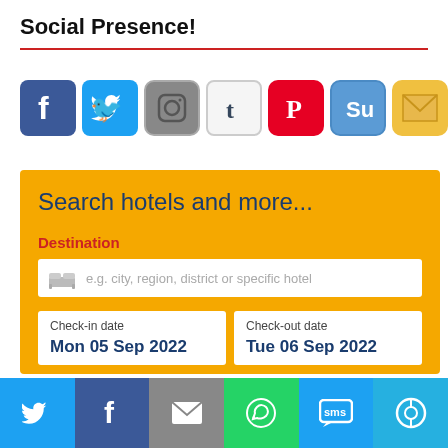Social Presence!
[Figure (other): Row of social media icons: Facebook, Twitter, Instagram, Tumblr, Pinterest, StumbleUpon, Email, Google+, YouTube]
[Figure (screenshot): Hotel search widget with yellow background. Fields: Destination text input with placeholder 'e.g. city, region, district or specific hotel', Check-in date 'Mon 05 Sep 2022', Check-out date 'Tue 06 Sep 2022', checkbox 'I don't have specific dates yet']
[Figure (other): Bottom social sharing bar with Twitter, Facebook, Email, WhatsApp, SMS, and share icons]